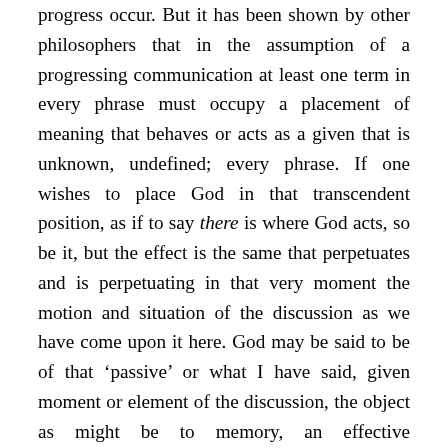progress occur. But it has been shown by other philosophers that in the assumption of a progressing communication at least one term in every phrase must occupy a placement of meaning that behaves or acts as a given that is unknown, undefined; every phrase. If one wishes to place God in that transcendent position, as if to say there is where God acts, so be it, but the effect is the same that perpetuates and is perpetuating in that very moment the motion and situation of the discussion as we have come upon it here. God may be said to be of that ‘passive’ or what I have said, given moment or element of the discussion, the object as might be to memory, an effective transcendent element, or, God might be said to be involved with the ‘active’ moment, and thereby acts as an immanent catalyst for the conversation, if you will. Similarly one could treat